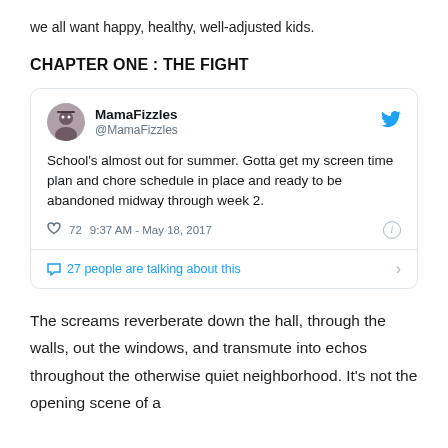we all want happy, healthy, well-adjusted kids.
CHAPTER ONE : THE FIGHT
[Figure (screenshot): Tweet screenshot from @MamaFizzles: 'School's almost out for summer. Gotta get my screen time plan and chore schedule in place and ready to be abandoned midway through week 2.' 72 likes, 9:37 AM - May 18, 2017. 27 people are talking about this.]
The screams reverberate down the hall, through the walls, out the windows, and transmute into echos throughout the otherwise quiet neighborhood. It's not the opening scene of a